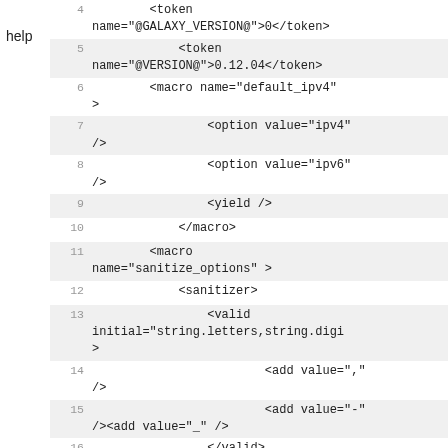help
Code listing lines 4-21 showing XML token, macro, option, yield, sanitizer, valid, add elements